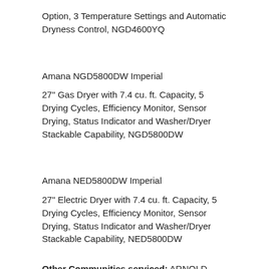Option, 3 Temperature Settings and Automatic Dryness Control, NGD4600YQ
Amana NGD5800DW Imperial
27" Gas Dryer with 7.4 cu. ft. Capacity, 5 Drying Cycles, Efficiency Monitor, Sensor Drying, Status Indicator and Washer/Dryer Stackable Capability, NGD5800DW
Amana NED5800DW Imperial
27" Electric Dryer with 7.4 cu. ft. Capacity, 5 Drying Cycles, Efficiency Monitor, Sensor Drying, Status Indicator and Washer/Dryer Stackable Capability, NED5800DW
Other Communities serviced: ARNOLD, BARNHART, CEDAR HILL, CRYSTAL CITY, DE SOTO, DITTMER, FESTUS, FLETCHER, HEMATITE, HERCULANEUM, HIGH RIDGE, HILLSBORO, HOUSE